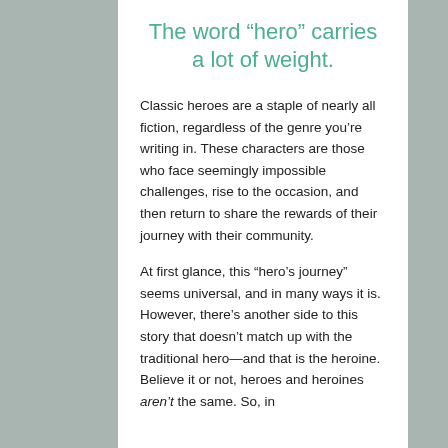The word “hero” carries a lot of weight.
Classic heroes are a staple of nearly all fiction, regardless of the genre you’re writing in. These characters are those who face seemingly impossible challenges, rise to the occasion, and then return to share the rewards of their journey with their community.
At first glance, this “hero’s journey” seems universal, and in many ways it is. However, there’s another side to this story that doesn’t match up with the traditional hero—and that is the heroine. Believe it or not, heroes and heroines aren’t the same. So, in